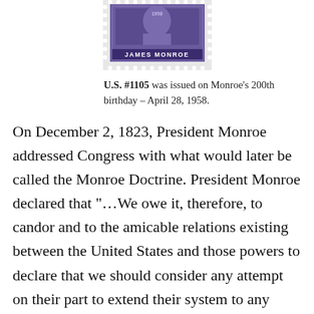[Figure (illustration): A purple/violet postage stamp featuring James Monroe, perforated edges, labeled 'JAMES MONROE' at the bottom]
U.S. #1105 was issued on Monroe’s 200th birthday – April 28, 1958.
On December 2, 1823, President Monroe addressed Congress with what would later be called the Monroe Doctrine. President Monroe declared that “…We owe it, therefore, to candor and to the amicable relations existing between the United States and those powers to declare that we should consider any attempt on their part to extend their system to any portion of this hemisphere as dangerous to our peace and safety. With the existing colonies or dependencies of any European power we have not interfered and shall not interfere.”